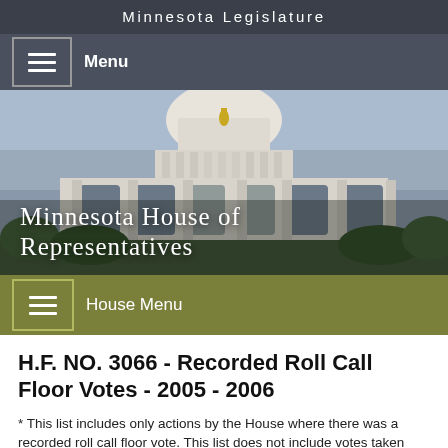Minnesota Legislature
Menu
[Figure (photo): Minnesota State Capitol building exterior with white dome and columns, with text overlay reading 'Minnesota House of Representatives']
House Menu
H.F. NO. 3066 - Recorded Roll Call Floor Votes - 2005 - 2006
* This list includes only actions by the House where there was a recorded roll call floor vote. This list does not include votes taken